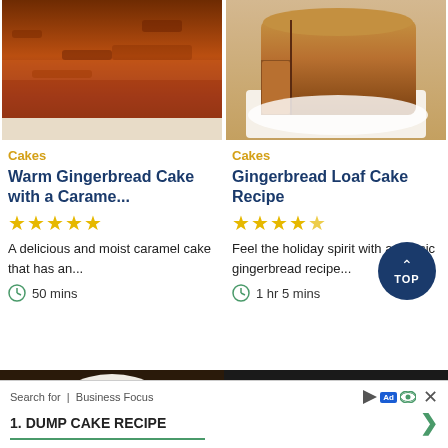[Figure (photo): Close-up of warm gingerbread cake with caramel topping, crumbly texture]
[Figure (photo): Gingerbread loaf cake on white plate, sliced to show interior]
Cakes
Cakes
Warm Gingerbread Cake with a Carame...
Gingerbread Loaf Cake Recipe
★★★★★
★★★★★
A delicious and moist caramel cake that has an...
Feel the holiday spirit with a classic gingerbread recipe...
50 mins
1 hr 5 mins
[Figure (photo): White frosting swirl on dark wooden board]
[Figure (photo): Chocolate cake slice with whipped cream on white plate]
Search for  |  Business Focus
1.  DUMP CAKE RECIPE